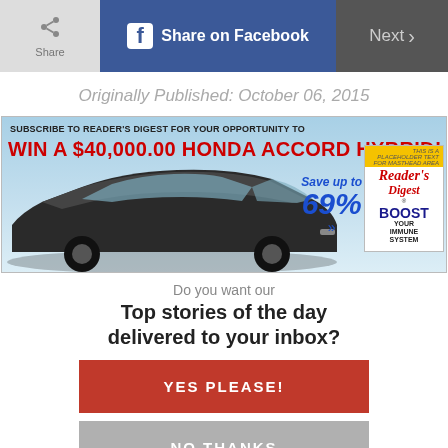Share | Share on Facebook | Next
Originally Published: October 06, 2015
[Figure (infographic): Reader's Digest advertisement banner: Subscribe to Reader's Digest for your opportunity to WIN A $40,000.00 HONDA ACCORD HYBRID! Save up to 69%. Shows a black Honda Accord Hybrid car and a Reader's Digest magazine cover with 'Boost Your Immune System'.]
Do you want our
Top stories of the day delivered to your inbox?
YES PLEASE!
NO THANKS